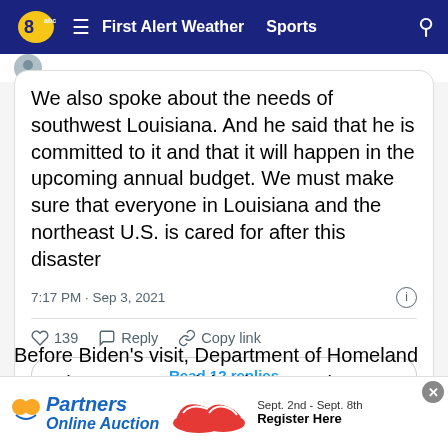First Alert Weather  Sports
[Figure (screenshot): Tweet card with text: We also spoke about the needs of southwest Louisiana. And he said that he is committed to it and that it will happen in the upcoming annual budget. We must make sure that everyone in Louisiana and the northeast U.S. is cared for after this disaster | 7:17 PM · Sep 3, 2021 | 139 likes | Reply | Copy link | Read 12 replies]
Before Biden's visit, Department of Homeland Security Secretary Alejandro Mayorkas gave an update on the federal response in Louisiana.
"Our fe... ond to
[Figure (screenshot): Partners Online Auction advertisement banner: Sept. 2nd - Sept. 8th Register Here, showing red sneakers]